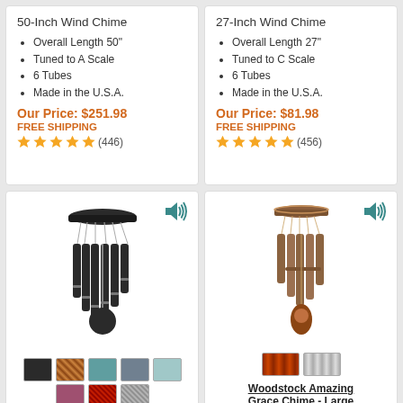50-Inch Wind Chime
Overall Length 50"
Tuned to A Scale
6 Tubes
Made in the U.S.A.
Our Price: $251.98
FREE SHIPPING
(446)
27-Inch Wind Chime
Overall Length 27"
Tuned to C Scale
6 Tubes
Made in the U.S.A.
Our Price: $81.98
FREE SHIPPING
(456)
[Figure (photo): Dark/black wind chime with 6 dark tubes and circular striker, with color swatches below (black, copper/brown, teal, slate blue, light teal, mauve, red, gray)]
[Figure (photo): Brown/wood-toned wind chime with 6 brown tubes and wooden teardrop striker, with color swatches below (dark copper, silver/gray). Title: Woodstock Amazing Grace Chime - Large]
Woodstock Amazing Grace Chime - Large